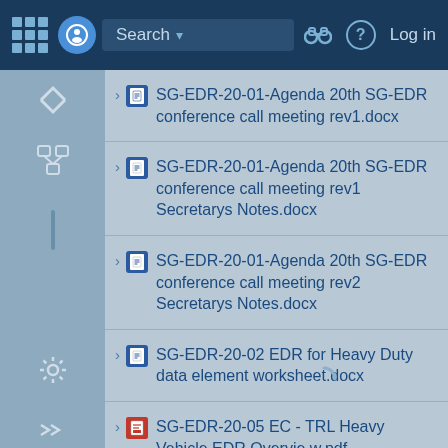[Figure (screenshot): Web application navigation bar with grid icon, search box, binoculars icon, help icon, and Log in button on dark blue background]
SG-EDR-20-01-Agenda 20th SG-EDR conference call meeting rev1.docx
SG-EDR-20-01-Agenda 20th SG-EDR conference call meeting rev1 Secretarys Notes.docx
SG-EDR-20-01-Agenda 20th SG-EDR conference call meeting rev2 Secretarys Notes.docx
SG-EDR-20-02 EDR for Heavy Duty data element worksheet.docx
SG-EDR-20-05 EC - TRL Heavy Vehicle EDR Overview.pdf